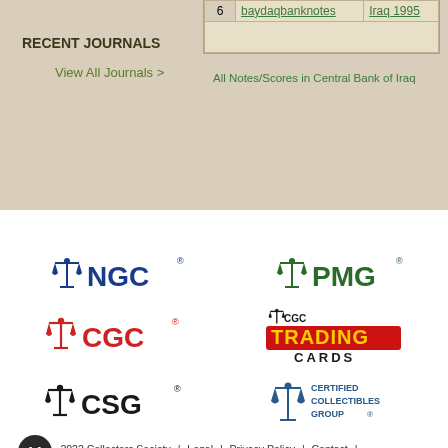RECENT JOURNALS
View All Journals >
|  |  |  |
| --- | --- | --- |
| 6 | baydaqbanknotes | Iraq 1995 |
All Notes/Scores in Central Bank of Iraq
[Figure (logo): NGC logo - blue scales and NGC text]
[Figure (logo): PMG logo - green scales and PMG text]
[Figure (logo): CGC logo - red scales and CGC text]
[Figure (logo): CGC Trading Cards logo]
[Figure (logo): CSG logo - black scales and CSG text]
[Figure (logo): Certified Collectibles Group logo]
©2001 - 2022 Collectors Society | Legal | Privacy Policy | Contact | -587-1897